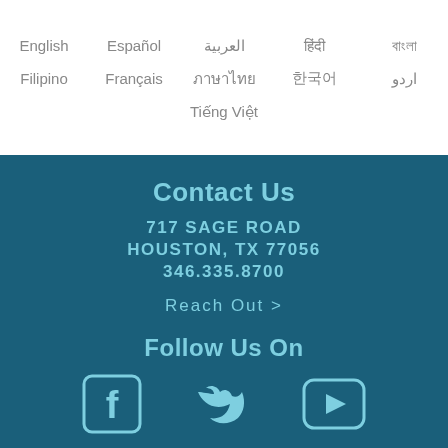English   Español   العربية   हिंदी   বাংলা
Filipino   Français   ภาษาไทย   한국어   اردو
Tiếng Việt
Contact Us
717 SAGE ROAD
HOUSTON, TX 77056
346.335.8700
Reach Out >
Follow Us On
[Figure (infographic): Social media icons: Facebook, Twitter, YouTube]